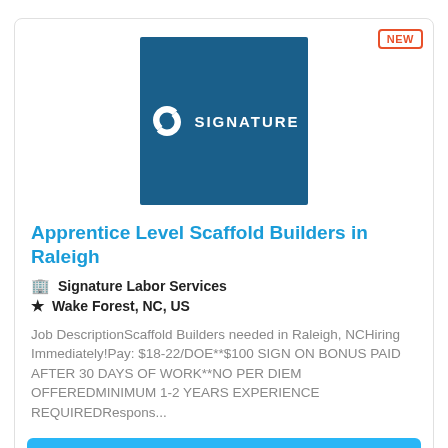[Figure (logo): Signature Labor Services logo: dark blue square with white stylized S icon and the word SIGNATURE in white caps]
Apprentice Level Scaffold Builders in Raleigh
Signature Labor Services
Wake Forest, NC, US
Job DescriptionScaffold Builders needed in Raleigh, NCHiring Immediately!Pay: $18-22/DOE**$100 SIGN ON BONUS PAID AFTER 30 DAYS OF WORK**NO PER DIEM OFFEREDMINIMUM 1-2 YEARS EXPERIENCE REQUIREDRespons...
More Details